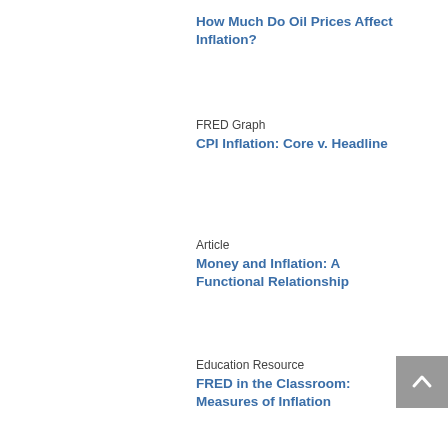How Much Do Oil Prices Affect Inflation?
FRED Graph
CPI Inflation: Core v. Headline
Article
Money and Inflation: A Functional Relationship
Education Resource
FRED in the Classroom: Measures of Inflation